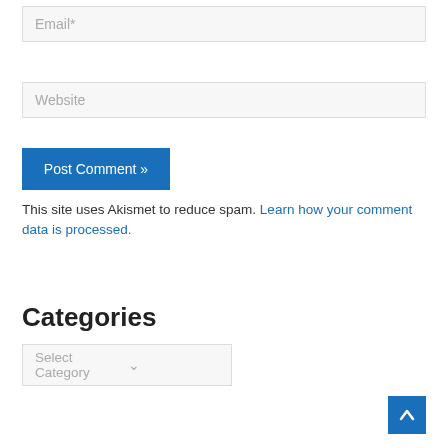Email*
Website
Post Comment »
This site uses Akismet to reduce spam. Learn how your comment data is processed.
Categories
Select Category